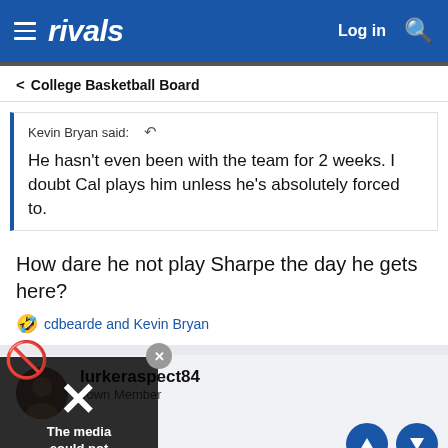rivals | Log in
< College Basketball Board
Kevin Bryan said: He hasn't even been with the team for 2 weeks. I doubt Cal plays him unless he's absolutely forced to.
How dare he not play Sharpe the day he gets here?
🤣 cdbearde and Kevin Bryan
lurkeraspect84 | Town Member